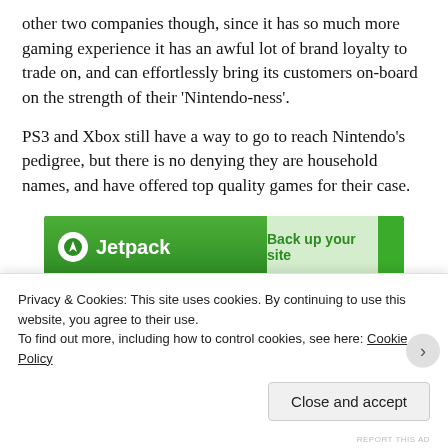other two companies though, since it has so much more gaming experience it has an awful lot of brand loyalty to trade on, and can effortlessly bring its customers on-board on the strength of their 'Nintendo-ness'.
PS3 and Xbox still have a way to go to reach Nintendo's pedigree, but there is no denying they are household names, and have offered top quality games for their case.
[Figure (other): Jetpack advertisement banner with green background showing Jetpack logo and 'Back up your site' text]
Privacy & Cookies: This site uses cookies. By continuing to use this website, you agree to their use.
To find out more, including how to control cookies, see here: Cookie Policy
Close and accept